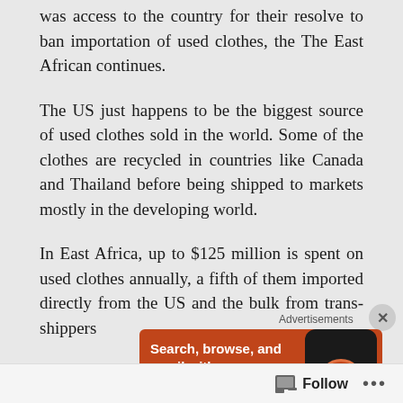was access to the country for their resolve to ban importation of used clothes, the The East African continues.
The US just happens to be the biggest source of used clothes sold in the world. Some of the clothes are recycled in countries like Canada and Thailand before being shipped to markets mostly in the developing world.
In East Africa, up to $125 million is spent on used clothes annually, a fifth of them imported directly from the US and the bulk from trans-shippers
[Figure (screenshot): Orange DuckDuckGo advertisement banner with text 'Search, browse, and email with more privacy.' and a button partially visible, with a phone image on the right showing the DuckDuckGo duck logo.]
Follow ...